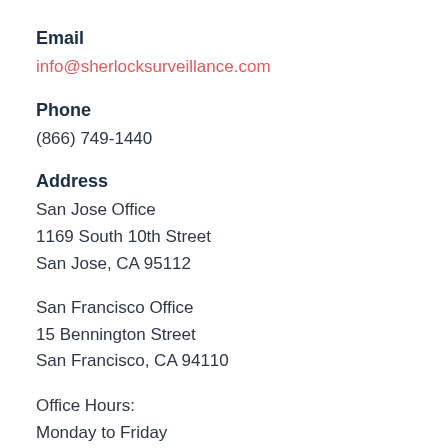Email
info@sherlocksurveillance.com
Phone
(866) 749-1440
Address
San Jose Office
1169 South 10th Street
San Jose, CA 95112
San Francisco Office
15 Bennington Street
San Francisco, CA 94110
Office Hours:
Monday to Friday
9 a.m. to 6 p.m. PST